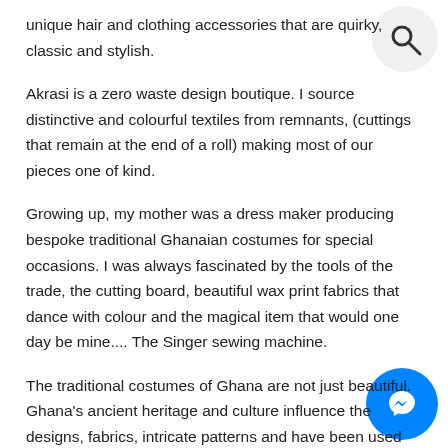unique hair and clothing accessories that are quirky, classic and stylish.
Akrasi is a zero waste design boutique. I source distinctive and colourful textiles from remnants, (cuttings that remain at the end of a roll) making most of our pieces one of kind.
Growing up, my mother was a dress maker producing bespoke traditional Ghanaian costumes for special occasions. I was always fascinated by the tools of the trade, the cutting board, beautiful wax print fabrics that dance with colour and the magical item that would one day be mine.... The Singer sewing machine.
The traditional costumes of Ghana are not just beautiful. Ghana's ancient heritage and culture influence the designs, fabrics, intricate patterns and have been used by Ghanaians for centuries as they carry the old knowledge and traditions. Alongside this, because these textiles are created using printed
[Figure (other): Search icon button (magnifying glass) in a circular grey button in the top right]
[Figure (other): Facebook Messenger icon in a circular blue button in the bottom right]